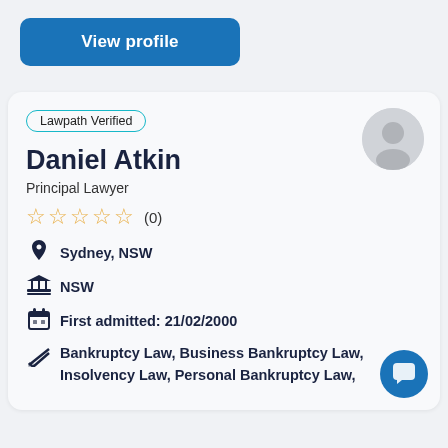View profile
Lawpath Verified
Daniel Atkin
Principal Lawyer
★★★★★ (0)
Sydney, NSW
NSW
First admitted: 21/02/2000
Bankruptcy Law, Business Bankruptcy Law, Insolvency Law, Personal Bankruptcy Law,